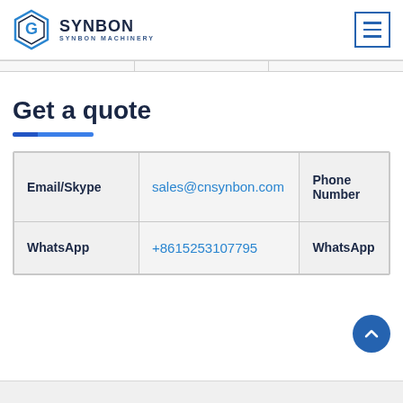[Figure (logo): SYNBON Machinery logo with hexagonal G icon in blue and navy text]
Get a quote
| Email/Skype | sales@cnsynbon.com | Phone Number |
| --- | --- | --- |
| WhatsApp | +8615253107795 | WhatsApp |